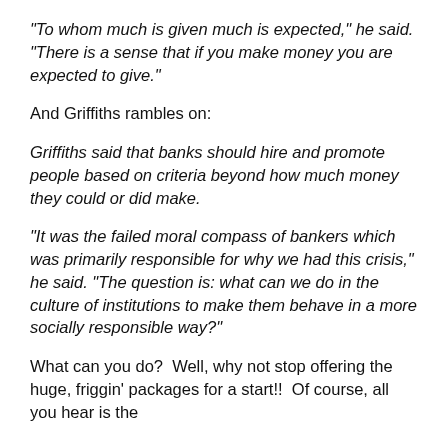“To whom much is given much is expected,” he said. “There is a sense that if you make money you are expected to give.”
And Griffiths rambles on:
Griffiths said that banks should hire and promote people based on criteria beyond how much money they could or did make.
“It was the failed moral compass of bankers which was primarily responsible for why we had this crisis,” he said. “The question is: what can we do in the culture of institutions to make them behave in a more socially responsible way?”
What can you do?  Well, why not stop offering the huge, friggin’ packages for a start!!  Of course, all you hear is the